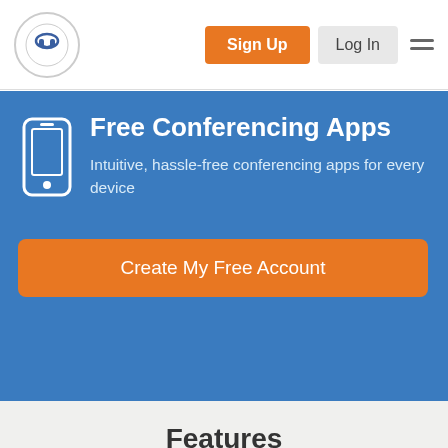Sign Up | Log In | menu
Free Conferencing Apps
Intuitive, hassle-free conferencing apps for every device
Create My Free Account
Features
Free Teleconferencing